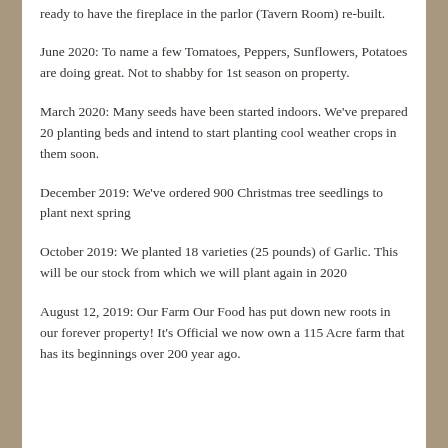ready to have the fireplace in the parlor (Tavern Room) re-built.
June 2020: To name a few Tomatoes, Peppers, Sunflowers, Potatoes are doing great. Not to shabby for 1st season on property.
March 2020: Many seeds have been started indoors. We've prepared 20 planting beds and intend to start planting cool weather crops in them soon.
December 2019: We've ordered 900 Christmas tree seedlings to plant next spring
October 2019: We planted 18 varieties (25 pounds) of Garlic. This will be our stock from which we will plant again in 2020
August 12, 2019: Our Farm Our Food has put down new roots in our forever property! It's Official we now own a 115 Acre farm that has its beginnings over 200 year ago.